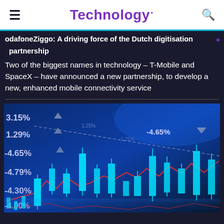Technology.
odafoneZiggo: A driving force of the Dutch digitisation partnership
Two of the biggest names in technology - T-Mobile and SpaceX - have announced a new partnership, to develop a new, enhanced mobile connectivity service
[Figure (photo): Financial stock market chart with candlestick bars in cyan/teal color, red line overlay, and percentage figures (3.15%, 1.29%, -4.65%, -4.79%, -4.65%) on a dark blue background]